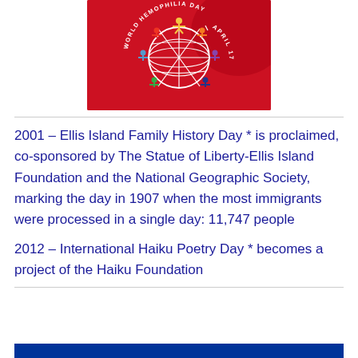[Figure (logo): World Hemophilia Day logo on red background — a white globe with colorful figures holding hands around it, text reading 'WORLD HEMOPHILIA DAY | APRIL 17']
2001 – Ellis Island Family History Day * is proclaimed, co-sponsored by The Statue of Liberty-Ellis Island Foundation and the National Geographic Society, marking the day in 1907 when the most immigrants were processed in a single day: 11,747 people
2012 – International Haiku Poetry Day * becomes a project of the Haiku Foundation